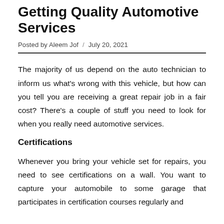Getting Quality Automotive Services
Posted by Aleem Jof / July 20, 2021
The majority of us depend on the auto technician to inform us what's wrong with this vehicle, but how can you tell you are receiving a great repair job in a fair cost? There's a couple of stuff you need to look for when you really need automotive services.
Certifications
Whenever you bring your vehicle set for repairs, you need to see certifications on a wall. You want to capture your automobile to some garage that participates in certification courses regularly and